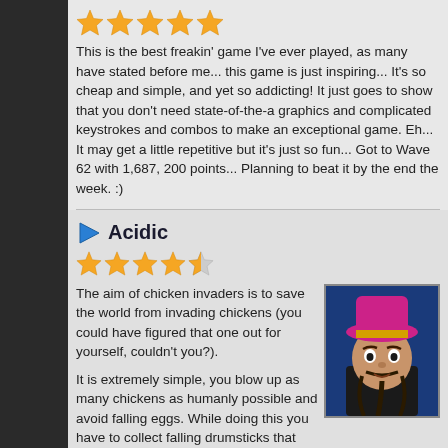[Figure (other): 5 gold star rating]
This is the best freakin' game I've ever played, as many have stated before me... this game is just inspiring... It's so cheap and simple, and yet so addicting! It just goes to show that you don't need state-of-the-a graphics and complicated keystrokes and combos to make an exceptional game. Eh... It may get a little repetitive but it's just so fun... Got to Wave 62 with 1,687, 200 points... Planning to beat it by the end the week. :)
Acidic
[Figure (other): 4.5 gold star rating]
[Figure (photo): Game character illustration - a villain with pink hat and black beard]
The aim of chicken invaders is to save the world from invading chickens (you could have figured that one out for yourself, couldn't you?).
It is extremely simple, you blow up as many chickens as humanly possible and avoid falling eggs. While doing this you have to collect falling drumsticks that will improve you chicken-killing space ship.
It's an interesting game with really good graphics, I recommend you give this one a try.